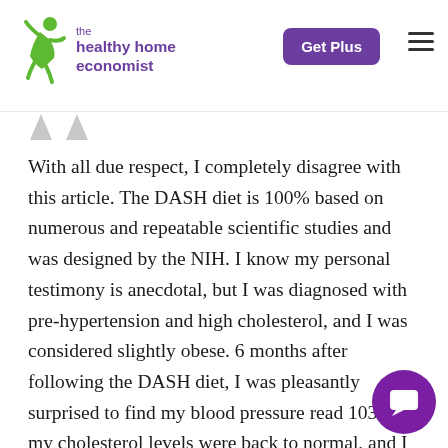the healthy home economist | Get Plus
With all due respect, I completely disagree with this article. The DASH diet is 100% based on numerous and repeatable scientific studies and was designed by the NIH. I know my personal testimony is anecdotal, but I was diagnosed with pre-hypertension and high cholesterol, and I was considered slightly obese. 6 months after following the DASH diet, I was pleasantly surprised to find my blood pressure read 103/74, my cholesterol levels were back to normal, and I lost 20 lbs. And the best part of the diet is that it's sustainable; I never had t deprive myself of the foods that I loved and